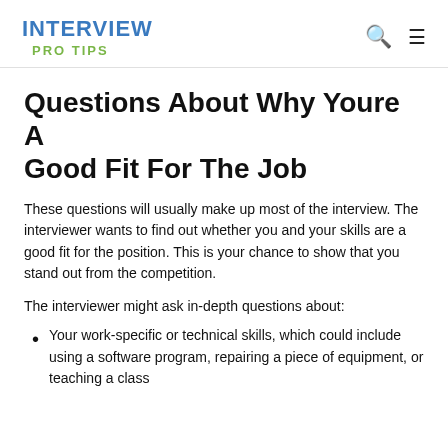INTERVIEW PRO TIPS
Questions About Why Youre A Good Fit For The Job
These questions will usually make up most of the interview. The interviewer wants to find out whether you and your skills are a good fit for the position. This is your chance to show that you stand out from the competition.
The interviewer might ask in-depth questions about:
Your work-specific or technical skills, which could include using a software program, repairing a piece of equipment, or teaching a class